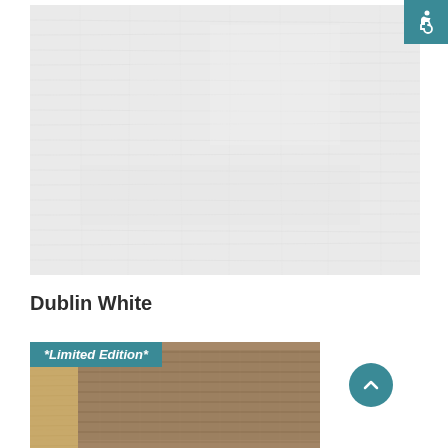[Figure (photo): White fabric/carpet texture swatch photo, light gray-white color]
[Figure (logo): Accessibility wheelchair icon in white on teal/dark cyan square background, top right corner]
Dublin White
[Figure (photo): Limited Edition brown/tan woven carpet or rug texture photo, close-up showing woven pattern with light wood border visible at left]
*Limited Edition*